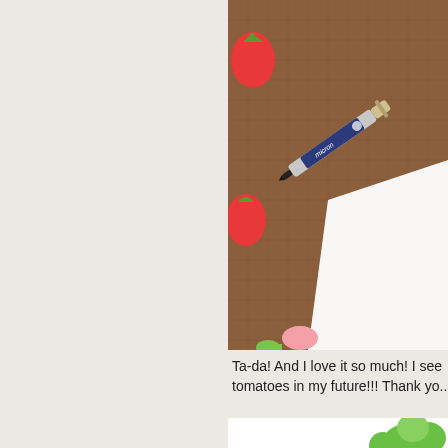[Figure (photo): A crafting scene on a brown burlap surface showing a Sakura Pigma Micron pen, red strawberry-shaped paper cutouts, a white card or paper, and a fingertip visible at the bottom.]
Ta-da! And I love it so much! I see tomatoes in my future!!! Thank yo...
[Figure (photo): Partial view of a white card with green leaf/plant decorations visible at the bottom of the page.]